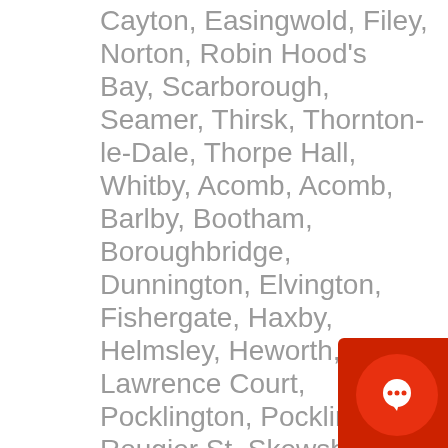Cayton, Easingwold, Filey, Norton, Robin Hood's Bay, Scarborough, Seamer, Thirsk, Thornton-le-Dale, Thorpe Hall, Whitby, Acomb, Acomb, Barlby, Bootham, Boroughbridge, Dunnington, Elvington, Fishergate, Haxby, Helmsley, Heworth, Lawrence Court, Pocklington, Pocklington, Rougier St, Skewsby, South Bank, York City Centre". We also cover postcodes including "YO1, YO31, YO24, YO10, YO2, YO91, YO30, YO3, YO23, YO32".
[Figure (other): Red chat/message icon button in the bottom-right corner]